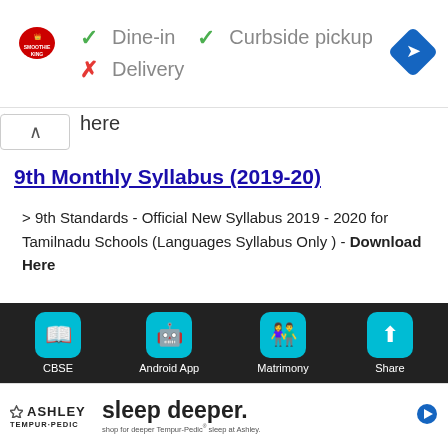[Figure (screenshot): Smoothie King ad banner showing Dine-in checkmark, Curbside pickup checkmark, Delivery X, and navigation diamond icon]
here
9th Monthly Syllabus (2019-20)
> 9th Standards - Official New Syllabus 2019 - 2020 for Tamilnadu Schools (Languages Syllabus Only ) - Download Here
[Figure (screenshot): Purple bar background element]
[Figure (screenshot): Bottom toolbar with CBSE, Android App, Matrimony, Share icons on dark background]
[Figure (screenshot): Ashley Tempur-Pedic sleep deeper advertisement banner at bottom]